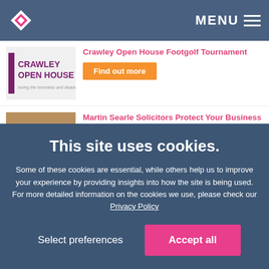MENU
Crawley Open House Footgolf Tournament
Find out more
Martin Searle Solicitors Protect Your Business – Update Your Contracts and Policies
Find out more
Special delivery! Govia Thameslink Railway kicks off
This site uses cookies.
Some of these cookies are essential, while others help us to improve your experience by providing insights into how the site is being used. For more detailed information on the cookies we use, please check our Privacy Policy
Select preferences
Accept all